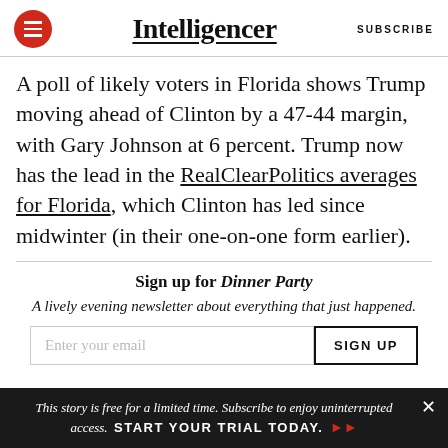Intelligencer | SUBSCRIBE
A poll of likely voters in Florida shows Trump moving ahead of Clinton by a 47-44 margin, with Gary Johnson at 6 percent. Trump now has the lead in the RealClearPolitics averages for Florida, which Clinton has led since midwinter (in their one-on-one form earlier).
Sign up for Dinner Party
A lively evening newsletter about everything that just happened.
Enter your email | SIGN UP
This story is free for a limited time. Subscribe to enjoy uninterrupted access. START YOUR TRIAL TODAY.